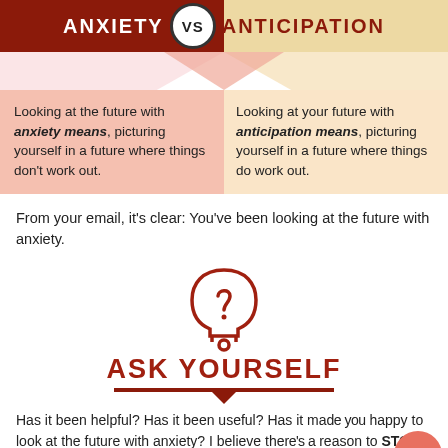ANXIETY VS ANTICIPATION
Looking at the future with anxiety means, picturing yourself in a future where things don't work out.
Looking at your future with anticipation means, picturing yourself in a future where things do work out.
From your email, it's clear: You've been looking at the future with anxiety.
[Figure (illustration): Head silhouette outline with a question mark inside, drawn in dark red/brown color]
ASK YOURSELF
Has it been helpful? Has it been useful? Has it made you happy to look at the future with anxiety? I believe the reason to STOP doing something is when you discover it